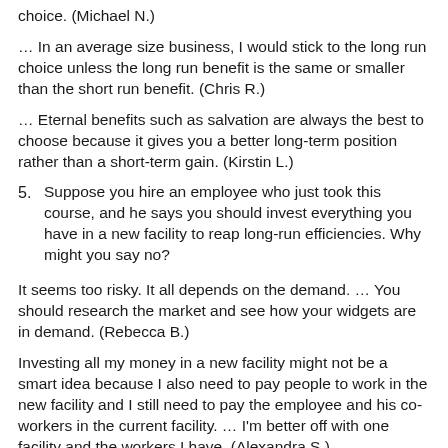choice. (Michael N.)
… In an average size business, I would stick to the long run choice unless the long run benefit is the same or smaller than the short run benefit. (Chris R.)
… Eternal benefits such as salvation are always the best to choose because it gives you a better long-term position rather than a short-term gain. (Kirstin L.)
5. Suppose you hire an employee who just took this course, and he says you should invest everything you have in a new facility to reap long-run efficiencies. Why might you say no?
It seems too risky. It all depends on the demand. … You should research the market and see how your widgets are in demand. (Rebecca B.)
Investing all my money in a new facility might not be a smart idea because I also need to pay people to work in the new facility and I still need to pay the employee and his co-workers in the current facility. … I'm better off with one facility and the workers I have. (Alexandra S.)